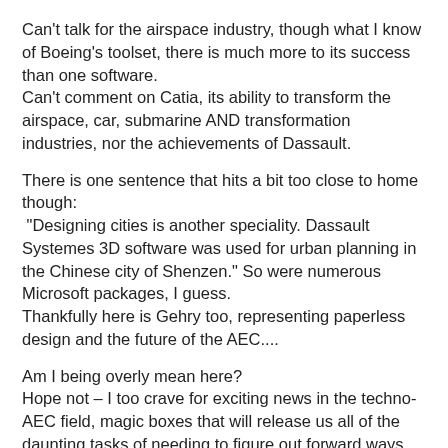Can't talk for the airspace industry, though what I know of Boeing's toolset, there is much more to its success than one software.
Can't comment on Catia, its ability to transform the airspace, car, submarine AND transformation industries, nor the achievements of Dassault.
There is one sentence that hits a bit too close to home though:
 “Designing cities is another speciality. Dassault Systemes 3D software was used for urban planning in the Chinese city of Shenzen.” So were numerous Microsoft packages, I guess.
Thankfully here is Gehry too, representing paperless design and the future of the AEC....
Am I being overly mean here?
Hope not – I too crave for exciting news in the techno-AEC field, magic boxes that will release us all of the daunting tasks of needing to figure out forward ways ourselves...